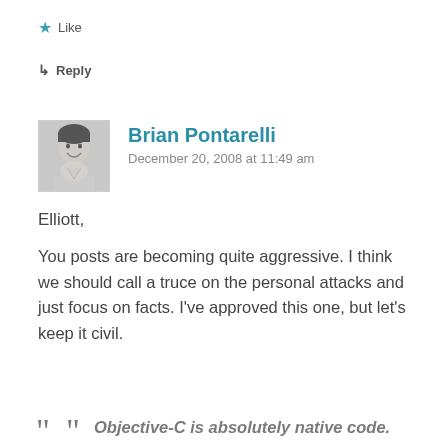★ Like
↳ Reply
[Figure (photo): Avatar photo of Brian Pontarelli, a man smiling, in black and white]
Brian Pontarelli
December 20, 2008 at 11:49 am
Elliott,
You posts are becoming quite aggressive. I think we should call a truce on the personal attacks and just focus on facts. I've approved this one, but let's keep it civil.
Objective-C is absolutely native code.